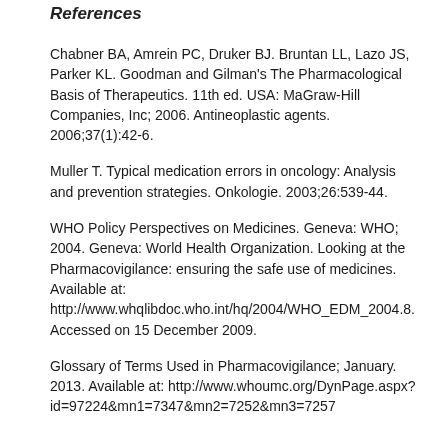References
Chabner BA, Amrein PC, Druker BJ. Bruntan LL, Lazo JS, Parker KL. Goodman and Gilman's The Pharmacological Basis of Therapeutics. 11th ed. USA: MaGraw-Hill Companies, Inc; 2006. Antineoplastic agents. 2006;37(1):42-6.
Muller T. Typical medication errors in oncology: Analysis and prevention strategies. Onkologie. 2003;26:539-44.
WHO Policy Perspectives on Medicines. Geneva: WHO; 2004. Geneva: World Health Organization. Looking at the Pharmacovigilance: ensuring the safe use of medicines. Available at: http://www.whqlibdoc.who.int/hq/2004/WHO_EDM_2004.8. Accessed on 15 December 2009.
Glossary of Terms Used in Pharmacovigilance; January. 2013. Available at: http://www.whoumc.org/DynPage.aspx?id=97224&mn1=7347&mn2=7252&mn3=7257